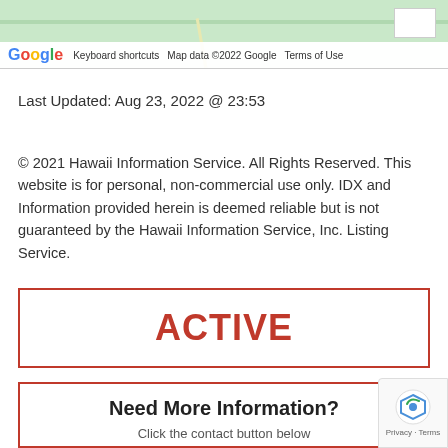[Figure (screenshot): Google Maps partial screenshot showing map terrain with Google logo, keyboard shortcuts, map data copyright, and terms of use in bottom bar]
Last Updated: Aug 23, 2022 @ 23:53
© 2021 Hawaii Information Service. All Rights Reserved. This website is for personal, non-commercial use only. IDX and Information provided herein is deemed reliable but is not guaranteed by the Hawaii Information Service, Inc. Listing Service.
ACTIVE
Need More Information?
Click the contact button below